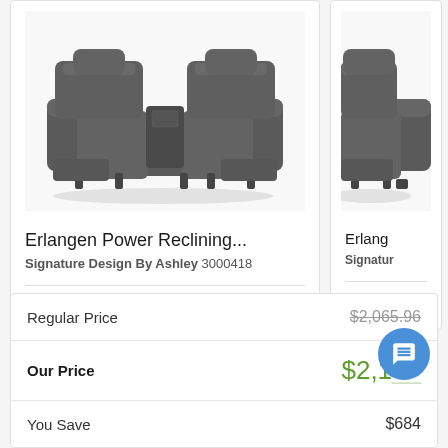[Figure (photo): Erlangen Power Reclining Loveseat in dark gray leather with center console, shown from front view]
Erlangen Power Reclining...
Signature Design By Ashley 3000418
QTY: 1
[Figure (photo): Partial view of Erlangen recliner in dark gray leather, cropped on right side]
Erlang
Signature
QTY: 1
|  | Price |
| --- | --- |
| Regular Price | $2,065.96 |
| Our Price | $2,1__ |
| You Save | $684 |